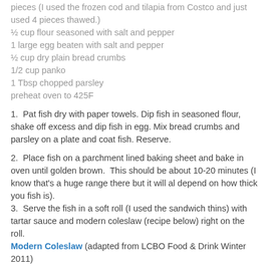pieces (I used the frozen cod and tilapia from Costco and just used 4 pieces thawed.)
½ cup flour seasoned with salt and pepper
1 large egg beaten with salt and pepper
½ cup dry plain bread crumbs
1/2 cup panko
1 Tbsp chopped parsley
preheat oven to 425F
1.  Pat fish dry with paper towels. Dip fish in seasoned flour, shake off excess and dip fish in egg. Mix bread crumbs and parsley on a plate and coat fish. Reserve.
2.  Place fish on a parchment lined baking sheet and bake in oven until golden brown.  This should be about 10-20 minutes (I know that's a huge range there but it will al depend on how thick you fish is).
3.  Serve the fish in a soft roll (I used the sandwich thins) with tartar sauce and modern coleslaw (recipe below) right on the roll.
Modern Coleslaw (adapted from LCBO Food & Drink Winter 2011)